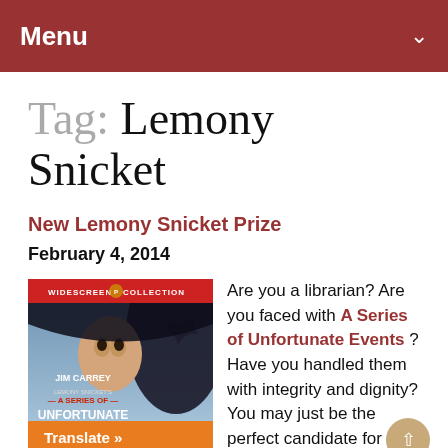Menu
Tag: Lemony Snicket
New Lemony Snicket Prize
February 4, 2014
[Figure (photo): Movie cover for 'Lemony Snicket's A Series of Unfortunate Events' (Widescreen Collection) featuring Jim Carrey]
Are you a librarian? Are you faced with A Series of Unfortunate Events ? Have you handled them with integrity and dignity? You may just be the perfect candidate for